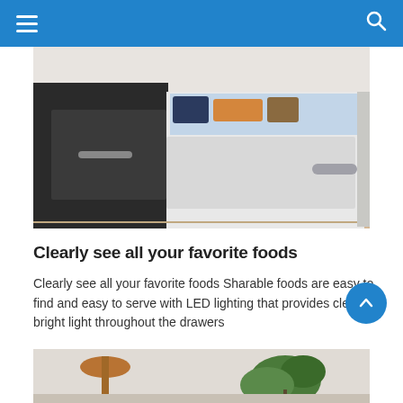navigation header with hamburger menu and search icon
[Figure (photo): Open drawer refrigerator showing interior drawers with produce and LED lighting, white cabinetry, wood floor]
Clearly see all your favorite foods
Clearly see all your favorite foods Sharable foods are easy to find and easy to serve with LED lighting that provides clear, bright light throughout the drawers
Watch Video
[Figure (photo): Bottom partial image showing kitchen scene with copper pendant light and greenery]